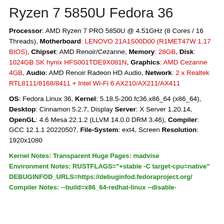Ryzen 7 5850U Fedora 36
Processor: AMD Ryzen 7 PRO 5850U @ 4.51GHz (8 Cores / 16 Threads), Motherboard: LENOVO 21A1S00D00 (R1MET47W 1.17 BIOS), Chipset: AMD Renoir/Cezanne, Memory: 28GB, Disk: 1024GB SK hynix HFS001TDE9X081N, Graphics: AMD Cezanne 4GB, Audio: AMD Renoir Radeon HD Audio, Network: 2 x Realtek RTL8111/8168/8411 + Intel Wi-Fi 6 AX210/AX211/AX411
OS: Fedora Linux 36, Kernel: 5.18.5-200.fc36.x86_64 (x86_64), Desktop: Cinnamon 5.2.7, Display Server: X Server 1.20.14, OpenGL: 4.6 Mesa 22.1.2 (LLVM 14.0.0 DRM 3.46), Compiler: GCC 12.1.1 20220507, File-System: ext4, Screen Resolution: 1920x1080
Kernel Notes: Transparent Huge Pages: madvise Environment Notes: RUSTFLAGS="+stable -C target-cpu=native" DEBUGINFOD_URLS=https://debuginfod.fedoraproject.org/ Compiler Notes: --build=x86_64-redhat-linux --disable-